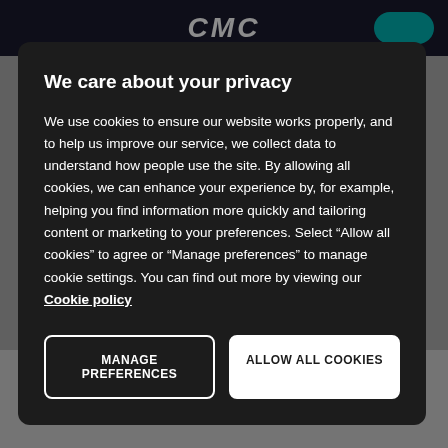We care about your privacy
We use cookies to ensure our website works properly, and to help us improve our service, we collect data to understand how people use the site. By allowing all cookies, we can enhance your experience by, for example, helping you find information more quickly and tailoring content or marketing to your preferences. Select “Allow all cookies” to agree or “Manage preferences” to manage cookie settings. You can find out more by viewing our Cookie policy
MANAGE PREFERENCES
ALLOW ALL COOKIES
Contact
CMC Markets Asia Pacific PTY Ltd
Level 10, Tower 3, International To...